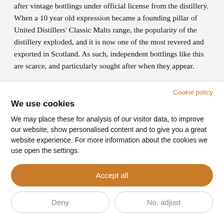after vintage bottlings under official license from the distillery. When a 10 year old expression became a founding pillar of United Distillers' Classic Malts range, the popularity of the distillery exploded, and it is now one of the most revered and exported in Scotland. As such, independent bottlings like this are scarce, and particularly sought after when they appear.
Cookie policy
We use cookies
We may place these for analysis of our visitor data, to improve our website, show personalised content and to give you a great website experience. For more information about the cookies we use open the settings.
Accept all
Deny
No, adjust